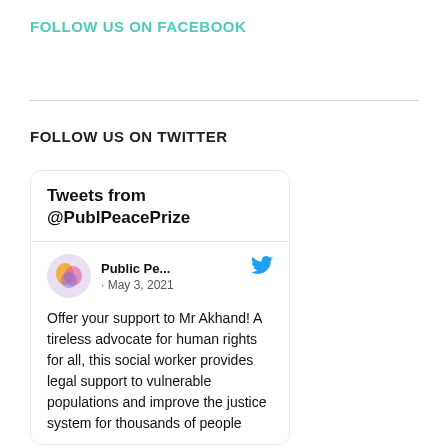FOLLOW US ON FACEBOOK
FOLLOW US ON TWITTER
[Figure (screenshot): Twitter widget showing tweets from @PublPeacePrize. Contains a tweet from 'Public Pe...' dated May 3, 2021: 'Offer your support to Mr Akhand! A tireless advocate for human rights for all, this social worker provides legal support to vulnerable populations and improve the justice system for thousands of people']